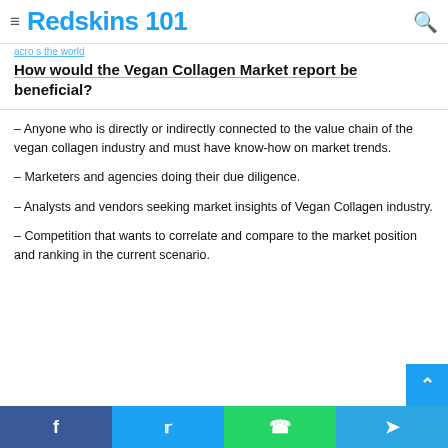≡ Redskins 101 🔍
How would the Vegan Collagen Market report be beneficial?
– Anyone who is directly or indirectly connected to the value chain of the vegan collagen industry and must have know-how on market trends.
– Marketers and agencies doing their due diligence.
– Analysts and vendors seeking market insights of Vegan Collagen industry.
– Competition that wants to correlate and compare to the market position and ranking in the current scenario.